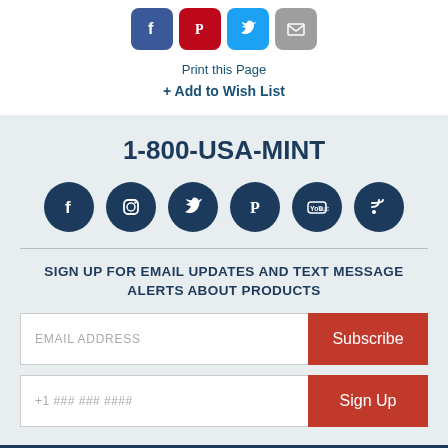[Figure (infographic): Social media share icons: Facebook (blue), Pinterest (red), Twitter (light blue), Email (grey)]
Print this Page
+ Add to Wish List
1-800-USA-MINT
[Figure (infographic): Six dark navy circular social media icons: Facebook, Instagram, Twitter, Pinterest, YouTube, RSS]
SIGN UP FOR EMAIL UPDATES AND TEXT MESSAGE ALERTS ABOUT PRODUCTS
[Figure (infographic): Email address input field with Subscribe button]
[Figure (infographic): Phone number input field with Sign Up button]
[Figure (infographic): Dark navy footer section with bordered inner box]